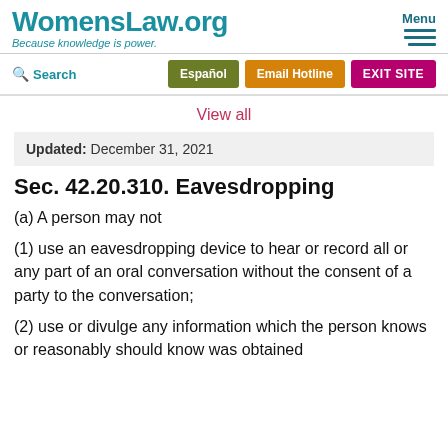WomensLaw.org — Because knowledge is power. Menu
Search | Español | Email Hotline | EXIT SITE
View all
Updated: December 31, 2021
Sec. 42.20.310. Eavesdropping
(a) A person may not
(1) use an eavesdropping device to hear or record all or any part of an oral conversation without the consent of a party to the conversation;
(2) use or divulge any information which the person knows or reasonably should know was obtained